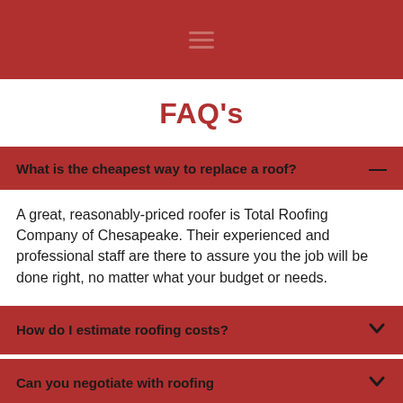[Figure (other): Red header bar with hamburger menu icon]
FAQ's
What is the cheapest way to replace a roof? —
A great, reasonably-priced roofer is Total Roofing Company of Chesapeake. Their experienced and professional staff are there to assure you the job will be done right, no matter what your budget or needs.
How do I estimate roofing costs?
Can you negotiate with roofing